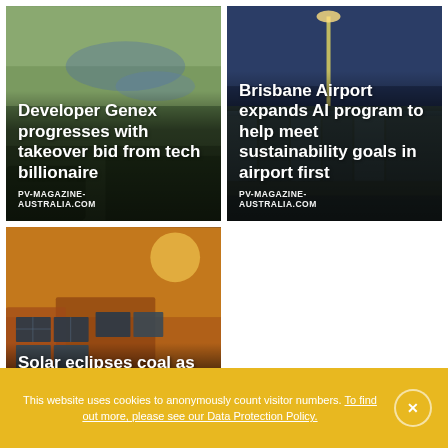[Figure (photo): Aerial landscape photo with water and terrain, showing a renewable energy site]
Developer Genex progresses with takeover bid from tech billionaire
PV-MAGAZINE-AUSTRALIA.COM
[Figure (photo): Brisbane Airport exterior at dusk with glowing lights and glass facade]
Brisbane Airport expands AI program to help meet sustainability goals in airport first
PV-MAGAZINE-AUSTRALIA.COM
[Figure (photo): Rooftop solar panels on residential buildings with warm sunset light]
Solar eclipses coal as primary fuel source in Australian grid
PV-MAGAZINE-
This website uses cookies to anonymously count visitor numbers. To find out more, please see our Data Protection Policy.